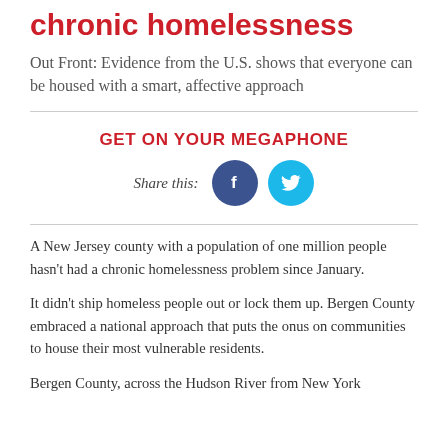chronic homelessness
Out Front: Evidence from the U.S. shows that everyone can be housed with a smart, affective approach
[Figure (infographic): GET ON YOUR MEGAPHONE section with Share this: label and Facebook and Twitter circular icon buttons]
A New Jersey county with a population of one million people hasn't had a chronic homelessness problem since January.
It didn't ship homeless people out or lock them up. Bergen County embraced a national approach that puts the onus on communities to house their most vulnerable residents.
Bergen County, across the Hudson River from New York